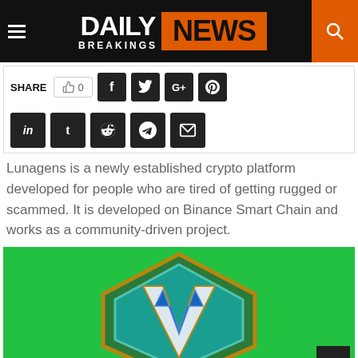DAILY BREAKINGS NEWS
SHARE  👍 0
Lunagens is a newly established crypto platform developed for people who are tired of getting rugged or scammed. It is developed on Binance Smart Chain and works as a community-driven project.
[Figure (logo): Lunagens crypto platform logo — a stylized shield/crest with teal and blue geometric V/G letters on a bright green background]